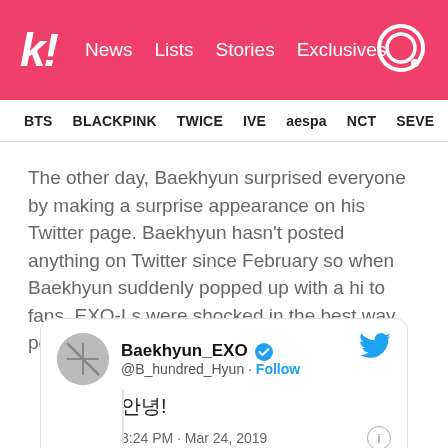Koreaboo — News | Lists | Stories | Exclusives
BTS  BLACKPINK  TWICE  IVE  aespa  NCT  SEVE
The other day, Baekhyun surprised everyone by making a surprise appearance on his Twitter page. Baekhyun hasn't posted anything on Twitter since February so when Baekhyun suddenly popped up with a hi to fans, EXO-Ls were shocked in the best way possible!
[Figure (screenshot): Embedded tweet from Baekhyun_EXO (@B_hundred_Hyun) with verified badge and Follow button. Tweet text shows emoji characters followed by exclamation mark. Timestamp: 3:24 PM · Mar 24, 2019. Twitter bird icon top right. Info icon bottom right.]